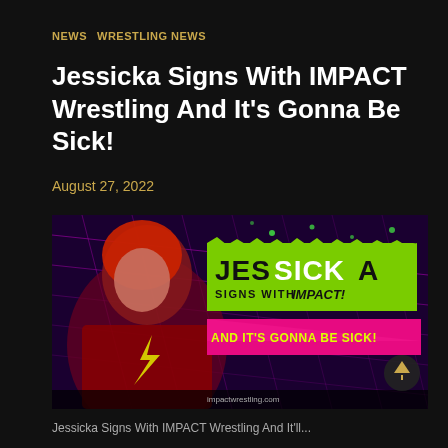NEWS   WRESTLING NEWS
Jessicka Signs With IMPACT Wrestling And It's Gonna Be Sick!
August 27, 2022
[Figure (photo): Promotional graphic for Jessicka signing with IMPACT Wrestling. Shows a woman with red hair in a dark outfit against a neon purple/pink grid background. Green paint-splatter banner reads 'JESSICKA SIGNS WITH IMPACT! AND IT'S GONNA BE SICK!' Social media icons and impactwrestling.com shown at bottom.]
Jessicka Signs With IMPACT Wrestling And It'll...